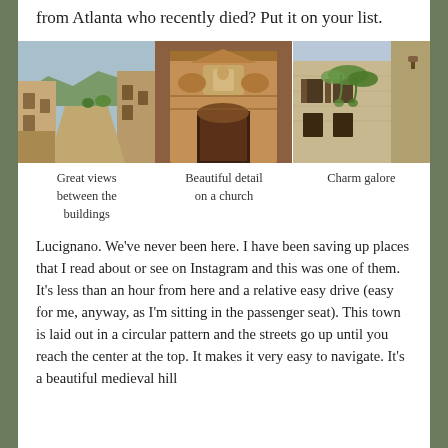from Atlanta who recently died?  Put it on your list.
[Figure (photo): Three photos side by side: left shows a narrow street between old stone/stucco buildings with mountains and blue sky in background; center shows ornate stone church facade with sculptural detail including pelicans and a niche with statue; right shows old stone buildings with ivy and green plants hanging from windows and walls.]
Great views between the buildings    Beautiful detail on a church    Charm galore
Lucignano.  We’ve never been here.  I have been saving up places that I read about or see on Instagram and this was one of them.  It’s less than an hour from here and a relative easy drive (easy for me, anyway, as I’m sitting in the passenger seat).  This town is laid out in a circular pattern and the streets go up until you reach the center at the top.  It makes it very easy to navigate.  It’s a beautiful medieval hill